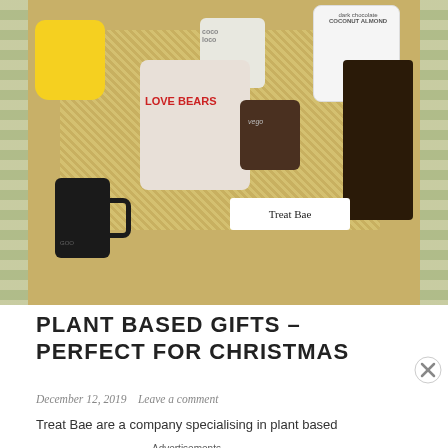[Figure (photo): A gift box filled with plant-based food products including Love Bears gummy candy bag, a dark jar (vego), coconut almond dark chocolate bar, a small bag labeled 'Coco Loco', a Treat Bae label card, a black mug, yellow bear-shaped item, and shredded paper straw filler.]
PLANT BASED GIFTS – PERFECT FOR CHRISTMAS
December 12, 2019   Leave a comment
Treat Bae are a company specialising in plant based
Advertisements
[Figure (screenshot): DuckDuckGo advertisement banner with orange background reading 'Search, browse, and email with more privacy. All in One Free App' with an image of a smartphone and DuckDuckGo logo.]